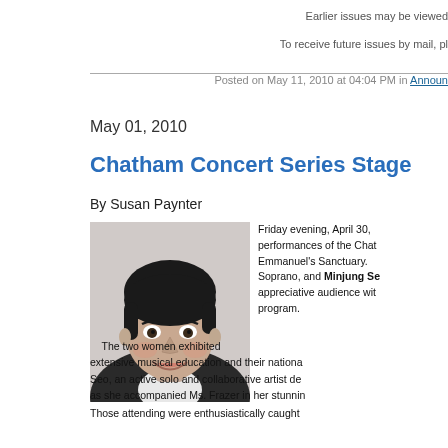Earlier issues may be viewed
To receive future issues by mail, pl
Posted on May 11, 2010 at 04:04 PM in Announ
May 01, 2010
Chatham Concert Series Stage
By Susan Paynter
[Figure (photo): Black and white portrait photo of a smiling woman with short dark hair wearing a dark jacket]
Friday evening, April 30, performances of the Chat Emmanuel's Sanctuary.  Soprano, and Minjung Se appreciative audience wit program.
The two women exhibited extensive musical education and their nationa Seo, an active solo and collaborative artist de as she accompanied Ms. Frazer in her stunnin
Those attending were enthusiastically caught